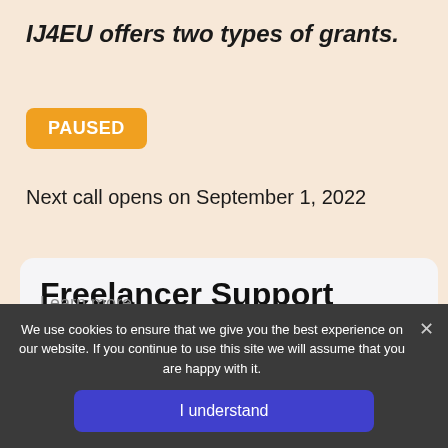IJ4EU offers two types of grants.
PAUSED
Next call opens on September 1, 2022
Freelancer Support Scheme
Grants of up to €20,000 plus bespoke support for freelancers.
Learn more
We use cookies to ensure that we give you the best experience on our website. If you continue to use this site we will assume that you are happy with it.
I understand